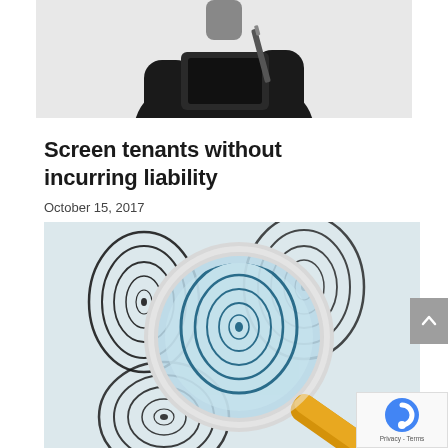[Figure (photo): Photo of a person in a dark business suit holding a notepad and pen, cropped at the torso/hands, white background]
Screen tenants without incurring liability
October 15, 2017
[Figure (photo): Photo of a magnifying glass over multiple black fingerprints on a light grey background, with the magnified area showing a blue-tinted fingerprint. The magnifying glass has a yellow/gold handle.]